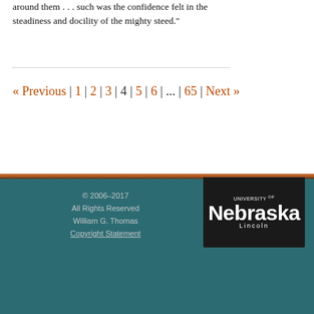around them . . . such was the confidence felt in the steadiness and docility of the mighty steed."
« Previous | 1 | 2 | 3 | 4 | 5 | 6 | ... | 65 | Next »
© 2006–2017
All Rights Reserved
William G. Thomas
Copyright Statement
[Figure (logo): University of Nebraska Lincoln logo, white text on dark background]